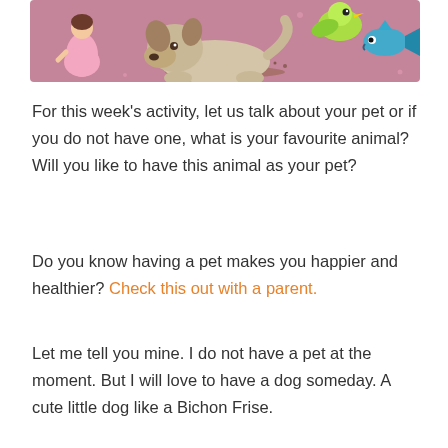[Figure (illustration): Cartoon illustration of animals and characters on a pink/mauve background: a pink-dressed girl figure on the left, a large beige/grey dog lying in the center, soil/dirt scatter, and colorful fish/bird characters on the right.]
For this week's activity, let us talk about your pet or if you do not have one, what is your favourite animal? Will you like to have this animal as your pet?
Do you know having a pet makes you happier and healthier? Check this out with a parent.
Let me tell you mine. I do not have a pet at the moment. But I will love to have a dog someday. A cute little dog like a Bichon Frise.